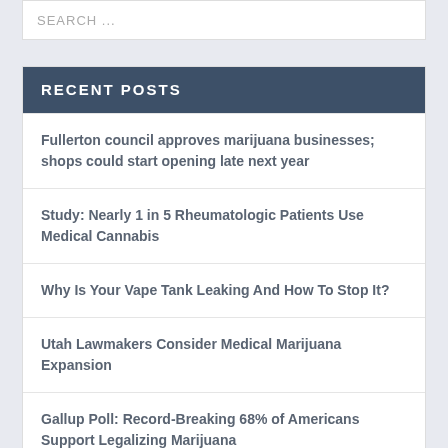SEARCH ...
RECENT POSTS
Fullerton council approves marijuana businesses; shops could start opening late next year
Study: Nearly 1 in 5 Rheumatologic Patients Use Medical Cannabis
Why Is Your Vape Tank Leaking And How To Stop It?
Utah Lawmakers Consider Medical Marijuana Expansion
Gallup Poll: Record-Breaking 68% of Americans Support Legalizing Marijuana